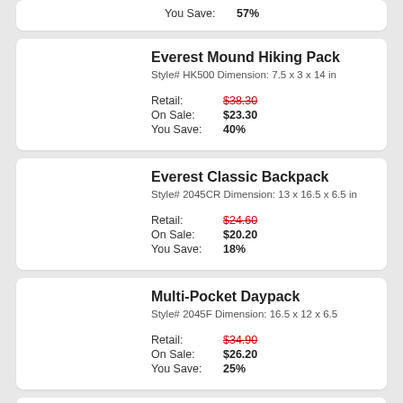You Save: 57%
Everest Mound Hiking Pack
Style# HK500 Dimension: 7.5 x 3 x 14 in
Retail: $38.30
On Sale: $23.30
You Save: 40%
Everest Classic Backpack
Style# 2045CR Dimension: 13 x 16.5 x 6.5 in
Retail: $24.60
On Sale: $20.20
You Save: 18%
Multi-Pocket Daypack
Style# 2045F Dimension: 16.5 x 12 x 6.5
Retail: $34.90
On Sale: $26.20
You Save: 25%
Everest Pattern Printed Backpack
Style# 2045P Dimension:13 x 16.5 x 6.5 in